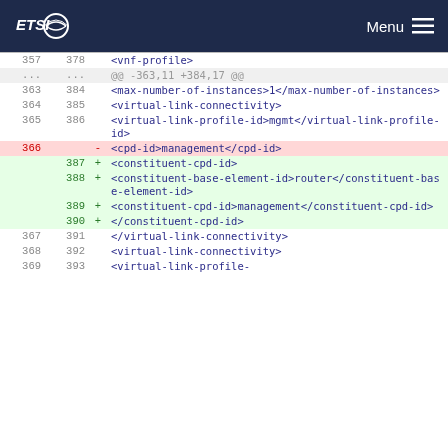ETSI  Menu
| old | new | sign | code |
| --- | --- | --- | --- |
| 357 | 378 |  | <vnf-profile> |
| ... | ... |  | @@ -363,11 +384,17 @@ |
| 363 | 384 |  | <max-number-of-instances>1</max-number-of-instances> |
| 364 | 385 |  | <virtual-link-connectivity> |
| 365 | 386 |  | <virtual-link-profile-id>mgmt</virtual-link-profile-id> |
| 366 |  | - | <cpd-id>management</cpd-id> |
|  | 387 | + | <constituent-cpd-id> |
|  | 388 | + | <constituent-base-element-id>router</constituent-base-element-id> |
|  | 389 | + | <constituent-cpd-id>management</constituent-cpd-id> |
|  | 390 | + | </constituent-cpd-id> |
| 367 | 391 |  | </virtual-link-connectivity> |
| 368 | 392 |  | <virtual-link-connectivity> |
| 369 | 393 |  | <virtual-link-profile- |